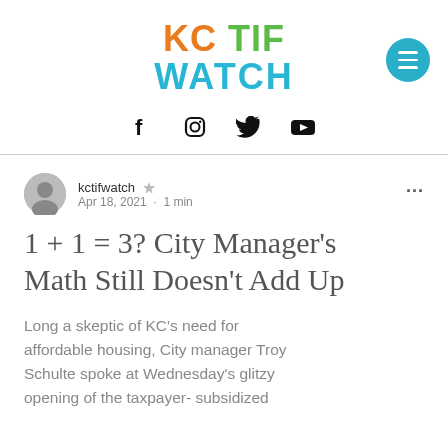KC TIF WATCH
kctifwatch  Apr 18, 2021 · 1 min
1 + 1 = 3? City Manager's Math Still Doesn't Add Up
Long a skeptic of KC's need for affordable housing, City manager Troy Schulte spoke at Wednesday's glitzy opening of the taxpayer- subsidized